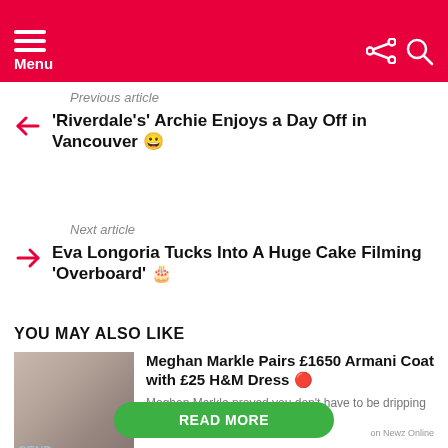Menu
Previous article
'Riverdale's' Archie Enjoys a Day Off in Vancouver 😊
Next article
Eva Longoria Tucks Into A Huge Cake Filming 'Overboard' 🎂
YOU MAY ALSO LIKE
[Figure (photo): Photo of Meghan Markle wearing a light coat, posing in front of a brick wall]
Meghan Markle Pairs £1650 Armani Coat with £25 H&M Dress 🔴
Meghan Markle proved you don't have to be dripping in designer to look amazing??
READ MORE